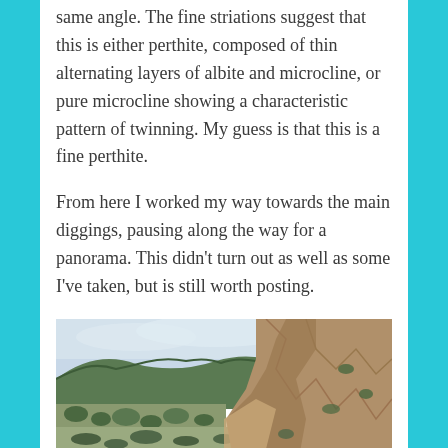same angle. The fine striations suggest that this is either perthite, composed of thin alternating layers of albite and microcline, or pure microcline showing a characteristic pattern of twinning. My guess is that this is a fine perthite.
From here I worked my way towards the main diggings, pausing along the way for a panorama. This didn't turn out as well as some I've taken, but is still worth posting.
[Figure (photo): Panoramic photograph of an open mine excavation site showing rocky hillside cuts on the right, a valley with scattered scrub vegetation and trees in the center and left, and an overcast sky above.]
Note the members of the group in the final frame, for scale.
Here's a single frame of the far side of the mine.